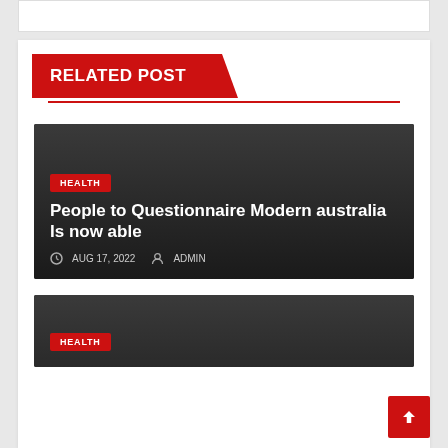RELATED POST
[Figure (photo): Dark gradient background card for health article about People to Questionnaire Modern australia Is now able]
People to Questionnaire Modern australia Is now able
AUG 17, 2022   ADMIN
[Figure (photo): Second dark card partially visible with HEALTH tag]